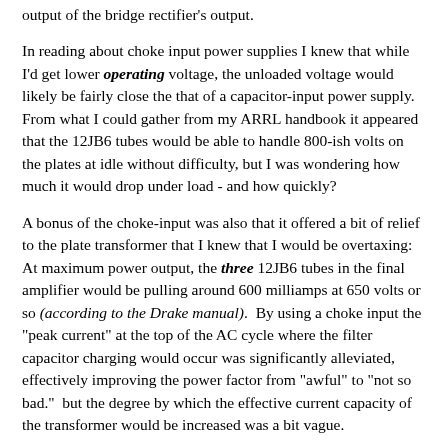output of the bridge rectifier's output.
In reading about choke input power supplies I knew that while I'd get lower operating voltage, the unloaded voltage would likely be fairly close the that of a capacitor-input power supply.  From what I could gather from my ARRL handbook it appeared that the 12JB6 tubes would be able to handle 800-ish volts on the plates at idle without difficulty, but I was wondering how much it would drop under load - and how quickly?
A bonus of the choke-input was also that it offered a bit of relief to the plate transformer that I knew that I would be overtaxing:  At maximum power output, the three 12JB6 tubes in the final amplifier would be pulling around 600 milliamps at 650 volts or so (according to the Drake manual).  By using a choke input the "peak current" at the top of the AC cycle where the filter capacitor charging would occur was significantly alleviated, effectively improving the power factor from "awful" to "not so bad."  but the degree by which the effective current capacity of the transformer would be increased was a bit vague.